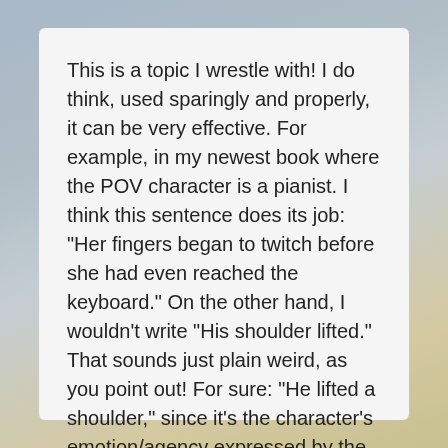This is a topic I wrestle with! I do think, used sparingly and properly, it can be very effective. For example, in my newest book where the POV character is a pianist. I think this sentence does its job: "Her fingers began to twitch before she had even reached the keyboard." On the other hand, I wouldn't write "His shoulder lifted." That sounds just plain weird, as you point out! For sure: "He lifted a shoulder," since it's the character's emotion/agency expressed by the gesture. I still struggle with hearts and pulses doing things like pounding and racing … wonder what you think of that?